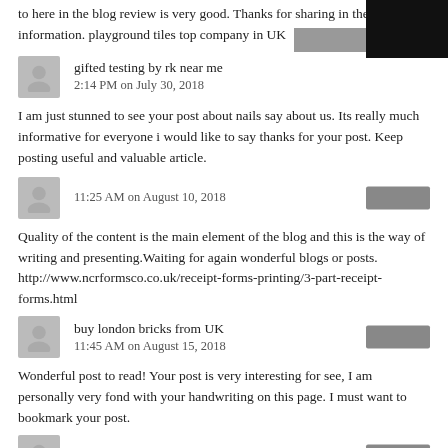to here in the blog review is very good. Thanks for sharing in the information. playground tiles top company in UK
gifted testing by rk near me
2:14 PM on July 30, 2018
I am just stunned to see your post about nails say about us. Its really much informative for everyone i would like to say thanks for your post. Keep posting useful and valuable article.
11:25 AM on August 10, 2018
Quality of the content is the main element of the blog and this is the way of writing and presenting.Waiting for again wonderful blogs or posts. http://www.ncrformsco.co.uk/receipt-forms-printing/3-part-receipt-forms.html
buy london bricks from UK
11:45 AM on August 15, 2018
Wonderful post to read! Your post is very interesting for see, I am personally very fond with your handwriting on this page. I must want to bookmark your post.
loemrntdherid1